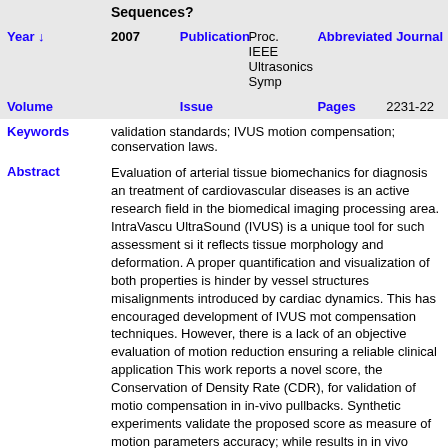|  | Year | Publication | Value | Abbreviated Journal | Pages |
| --- | --- | --- | --- | --- | --- |
|  | 2007 | Publication | Proc. IEEE Ultrasonics Symp | Abbreviated Journal | 2231-22 |
| Volume |  | Issue |  | Pages | 2231-22 |
| Keywords | validation standards; IVUS motion compensation; conservation laws. |  |  |  |  |
| Abstract | Evaluation of arterial tissue biomechanics for diagnosis and treatment of cardiovascular diseases is an active research field in the biomedical imaging processing area. IntraVascular UltraSound (IVUS) is a unique tool for such assessment since it reflects tissue morphology and deformation. A proper quantification and visualization of both properties is hindered by vessel structures misalignments introduced by cardiac dynamics. This has encouraged development of IVUS motion compensation techniques. However, there is a lack of an objective evaluation of motion reduction ensuring a reliable clinical application This work reports a novel score, the Conservation of Density Rate (CDR), for validation of motion compensation in in-vivo pullbacks. Synthetic experiments validate the proposed score as measure of motion parameters accuracy; while results in in vivo pullbacks show its reliability in clinical cases. |  |  |  |  |
| Address |  |  |  |  |  |
| Corporate Author |  |  |  | Thesis |  |